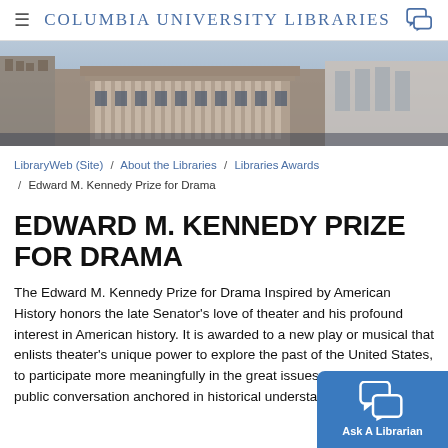Columbia University Libraries
[Figure (photo): Photograph of Columbia University library building exterior, wide neoclassical building with columns, urban campus setting]
LibraryWeb (Site) / About the Libraries / Libraries Awards / Edward M. Kennedy Prize for Drama
EDWARD M. KENNEDY PRIZE FOR DRAMA
The Edward M. Kennedy Prize for Drama Inspired by American History honors the late Senator's love of theater and his profound interest in American history. It is awarded to a new play or musical that enlists theater's unique power to explore the past of the United States, to participate more meaningfully in the great issues of our day through public conversation anchored in historical understanding, that is...